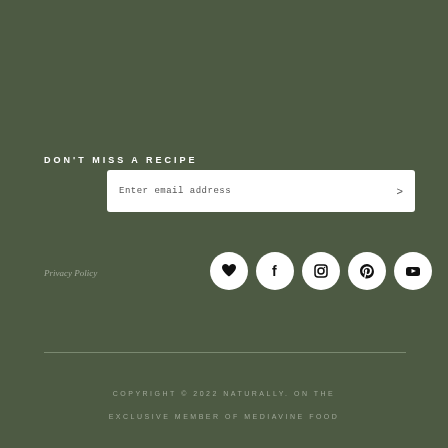DON'T MISS A RECIPE
Enter email address >
Privacy Policy
[Figure (infographic): Five social media icon circles in white: heart/favorite, Facebook, Instagram, Pinterest, YouTube]
COPYRIGHT © 2022 NATURALLY. ON THE EXCLUSIVE MEMBER OF MEDIAVINE FOOD